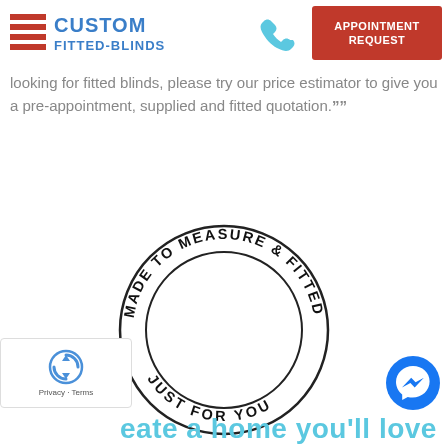[Figure (logo): Custom Fitted-Blinds logo with red horizontal stripes and blue text]
[Figure (illustration): Blue phone handset icon]
[Figure (illustration): Red button with text APPOINTMENT REQUEST]
looking for fitted blinds, please try our price estimator to give you a pre-appointment, supplied and fitted quotation.””
[Figure (illustration): Circular stamp reading MADE TO MEASURE & FITTED JUST FOR YOU]
[Figure (logo): reCAPTCHA Privacy Terms badge]
[Figure (illustration): Facebook Messenger blue circle icon]
eate a home you'll love